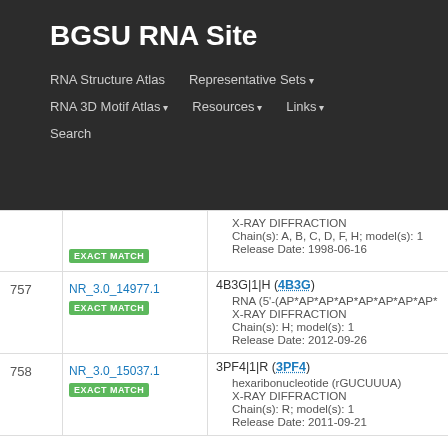BGSU RNA Site
RNA Structure Atlas | Representative Sets ▾ | RNA 3D Motif Atlas ▾ | Resources ▾ | Links ▾ | Search
| # | ID | Details |
| --- | --- | --- |
|  |  | X-RAY DIFFRACTION | Chain(s): A, B, C, D, F, H; model(s): 1 | Release Date: 1998-06-16 |
| 757 | NR_3.0_14977.1 EXACT MATCH | 4B3G|1|H (4B3G) | RNA (5'-(AP*AP*AP*AP*AP*AP*AP*AP*... | X-RAY DIFFRACTION | Chain(s): H; model(s): 1 | Release Date: 2012-09-26 |
| 758 | NR_3.0_15037.1 EXACT MATCH | 3PF4|1|R (3PF4) | hexaribonucleotide (rGUCUUUA) | X-RAY DIFFRACTION | Chain(s): R; model(s): 1 | Release Date: 2011-09-21 |